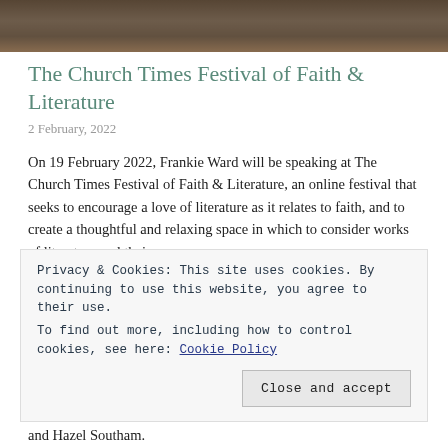[Figure (photo): Cropped top portion of a photograph showing blurred colorful background and dark tones, partial header image for the article]
The Church Times Festival of Faith & Literature
2 February, 2022
On 19 February 2022, Frankie Ward will be speaking at The Church Times Festival of Faith & Literature, an online festival that seeks to encourage a love of literature as it relates to faith, and to create a thoughtful and relaxing space in which to consider works of literature and their
Privacy & Cookies: This site uses cookies. By continuing to use this website, you agree to their use.
To find out more, including how to control cookies, see here: Cookie Policy
Close and accept
and Hazel Southam.